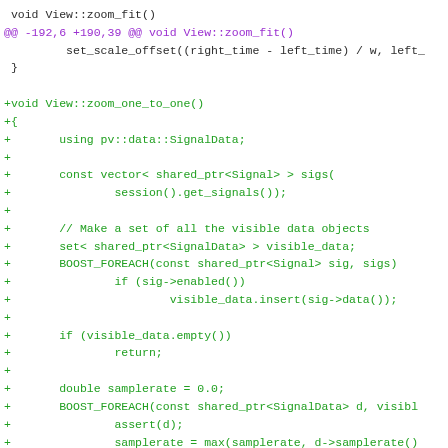[Figure (screenshot): A code diff screenshot showing C++ source code. The top lines show context for void View::zoom_fit() function with a diff hunk header in purple. The majority of the code shows added lines (prefixed with +) in green, implementing a new void View::zoom_one_to_one() function.]